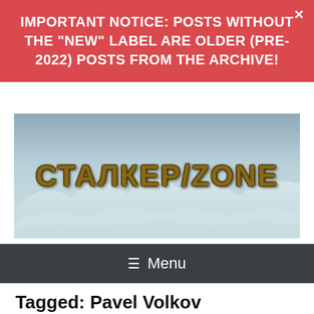IMPORTANT NOTICE: POSTS WITHOUT THE "NEW" LABEL ARE OLDER (PRE-2022) POSTS FROM THE ARCHIVE!
[Figure (illustration): Website header banner with snowy/foggy landscape background and the text 'СТАЛКЕР/ZONE' in stylized golden/brown lettering]
≡ Menu
Tagged: Pavel Volkov